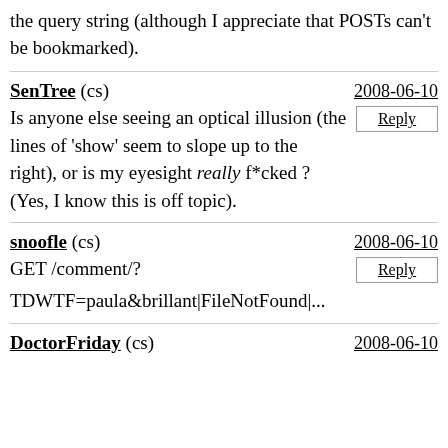the query string (although I appreciate that POSTs can't be bookmarked).
SenTree (cs) 2008-06-10
Is anyone else seeing an optical illusion (the lines of 'show' seem to slope up to the right), or is my eyesight really f*cked ? (Yes, I know this is off topic).
snoofle (cs) 2008-06-10
GET /comment/?
TDWTF=paula&brillant|FileNotFound|...
DoctorFriday (cs) 2008-06-10